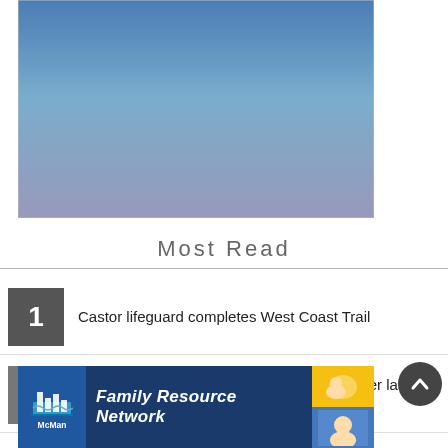[Figure (photo): Gradient image fading from blue at top to grayish-lavender at bottom, likely a sky photo used as a header image placeholder.]
Most Read
1. Castor lifeguard completes West Coast Trail
2. Stettler area offender rearrested 10 days after last arrest
[Figure (advertisement): McMan Family Resource Network advertisement banner with blue background, McMan logo on the left, italic bold white text 'Family Resource Network' in the center, and two small photos of children on the right.]